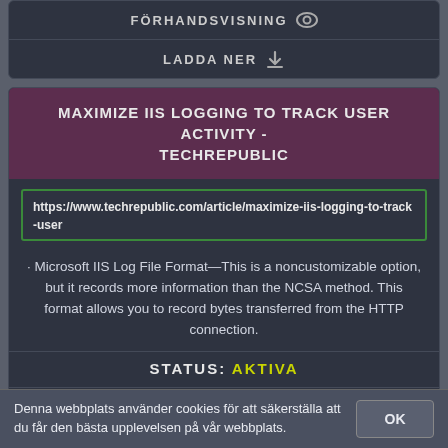FÖRHANDSVISNING
LADDA NER
MAXIMIZE IIS LOGGING TO TRACK USER ACTIVITY - TECHREPUBLIC
https://www.techrepublic.com/article/maximize-iis-logging-to-track-user
· Microsoft IIS Log File Format—This is a noncustomizable option, but it records more information than the NCSA method. This format allows you to record bytes transferred from the HTTP connection.
STATUS: AKTIVA
FÖRHANDSVISNING
LADDA NER
Denna webbplats använder cookies för att säkerställa att du får den bästa upplevelsen på vår webbplats.